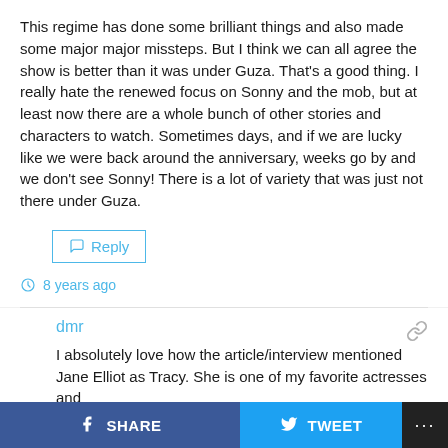This regime has done some brilliant things and also made some major major missteps. But I think we can all agree the show is better than it was under Guza. That's a good thing. I really hate the renewed focus on Sonny and the mob, but at least now there are a whole bunch of other stories and characters to watch. Sometimes days, and if we are lucky like we were back around the anniversary, weeks go by and we don't see Sonny! There is a lot of variety that was just not there under Guza.
Reply
8 years ago
dmr
I absolutely love how the article/interview mentioned Jane Elliot as Tracy. She is one of my favorite actresses and